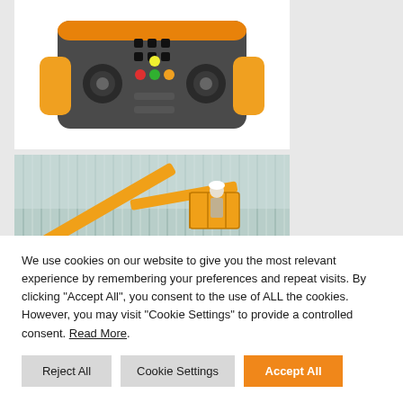[Figure (photo): Yellow industrial remote control unit with joysticks, buttons, and switches on a white background]
[Figure (photo): Haulotte yellow boom lift/aerial work platform with worker in basket against a corrugated metal wall background]
We use cookies on our website to give you the most relevant experience by remembering your preferences and repeat visits. By clicking “Accept All”, you consent to the use of ALL the cookies. However, you may visit "Cookie Settings" to provide a controlled consent. Read More.